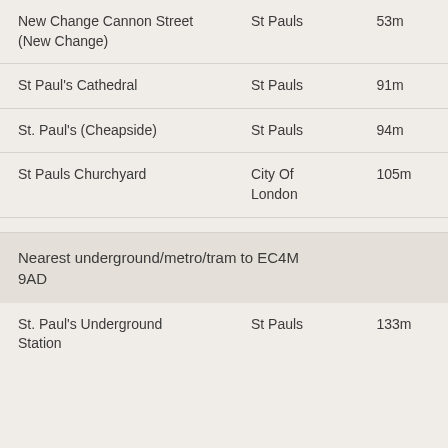| Location | Area | Distance |
| --- | --- | --- |
| New Change Cannon Street (New Change) | St Pauls | 53m |
| St Paul's Cathedral | St Pauls | 91m |
| St. Paul's (Cheapside) | St Pauls | 94m |
| St Pauls Churchyard | City Of London | 105m |
Nearest underground/metro/tram to EC4M 9AD
| Location | Area | Distance |
| --- | --- | --- |
| St. Paul's Underground Station | St Pauls | 133m |